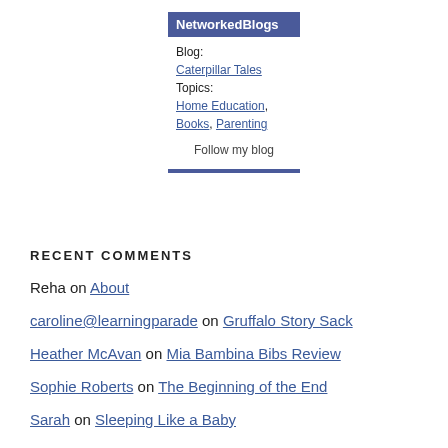[Figure (other): NetworkedBlogs widget showing Blog: Caterpillar Tales, Topics: Home Education, Books, Parenting, with a Follow my blog button]
RECENT COMMENTS
Reha on About
caroline@learningparade on Gruffalo Story Sack
Heather McAvan on Mia Bambina Bibs Review
Sophie Roberts on The Beginning of the End
Sarah on Sleeping Like a Baby